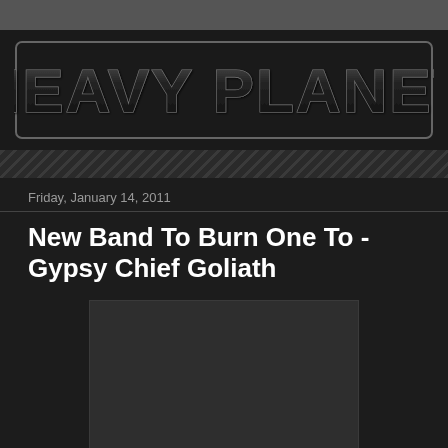[Figure (logo): Heavy Planet logo with bold metallic blocky text on dark background]
Friday, January 14, 2011
New Band To Burn One To - Gypsy Chief Goliath
[Figure (photo): Dark rectangular image placeholder, appears to be album art or band photo]